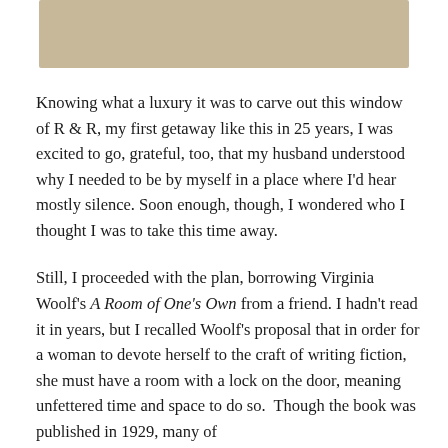[Figure (photo): Tan/beige colored photo strip at top of page, partial image cropped]
Knowing what a luxury it was to carve out this window of R & R, my first getaway like this in 25 years, I was excited to go, grateful, too, that my husband understood why I needed to be by myself in a place where I'd hear mostly silence. Soon enough, though, I wondered who I thought I was to take this time away.
Still, I proceeded with the plan, borrowing Virginia Woolf's A Room of One's Own from a friend. I hadn't read it in years, but I recalled Woolf's proposal that in order for a woman to devote herself to the craft of writing fiction, she must have a room with a lock on the door, meaning unfettered time and space to do so. Though the book was published in 1929, many of